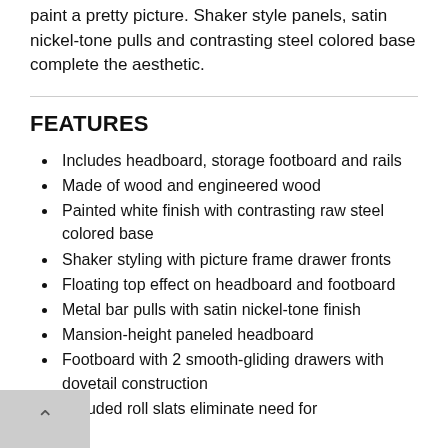paint a pretty picture. Shaker style panels, satin nickel-tone pulls and contrasting steel colored base complete the aesthetic.
FEATURES
Includes headboard, storage footboard and rails
Made of wood and engineered wood
Painted white finish with contrasting raw steel colored base
Shaker styling with picture frame drawer fronts
Floating top effect on headboard and footboard
Metal bar pulls with satin nickel-tone finish
Mansion-height paneled headboard
Footboard with 2 smooth-gliding drawers with dovetail construction
Included roll slats eliminate need for